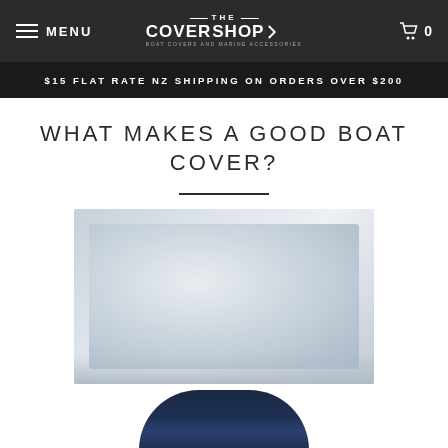MENU | THE COVERSHOP BOAT COVERS AND MARINE ACCESSORIES | 0
$15 FLAT RATE NZ SHIPPING ON ORDERS OVER $200
WHAT MAKES A GOOD BOAT COVER?
[Figure (photo): Blurred photo of a boat cover outdoors, light grey-blue tones]
[Figure (photo): Partial view of a dark navy blue boat cover from below]